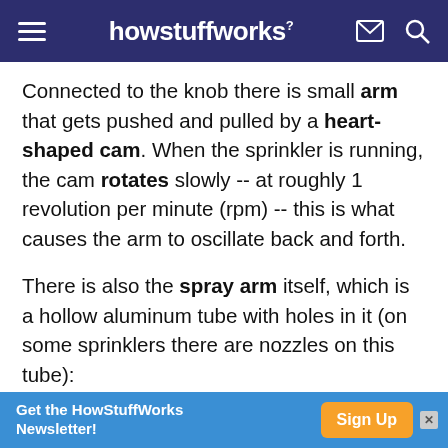howstuffworks
Connected to the knob there is small arm that gets pushed and pulled by a heart-shaped cam. When the sprinkler is running, the cam rotates slowly -- at roughly 1 revolution per minute (rpm) -- this is what causes the arm to oscillate back and forth.
There is also the spray arm itself, which is a hollow aluminum tube with holes in it (on some sprinklers there are nozzles on this tube):
[Figure (photo): Close-up photo of a sprinkler spray arm showing holes/nozzles on an aluminum tube]
Get the HowStuffWorks Newsletter! Sign Up